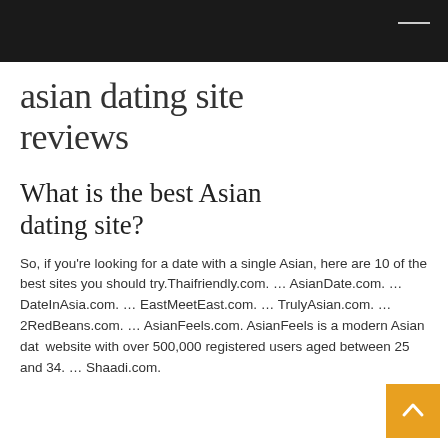asian dating site reviews
What is the best Asian dating site?
So, if you're looking for a date with a single Asian, here are 10 of the best sites you should try.Thaifriendly.com. … AsianDate.com. … DateInAsia.com. … EastMeetEast.com. … TrulyAsian.com. … 2RedBeans.com. … AsianFeels.com. AsianFeels is a modern Asian dating website with over 500,000 registered users aged between 25 and 34. … Shaadi.com.